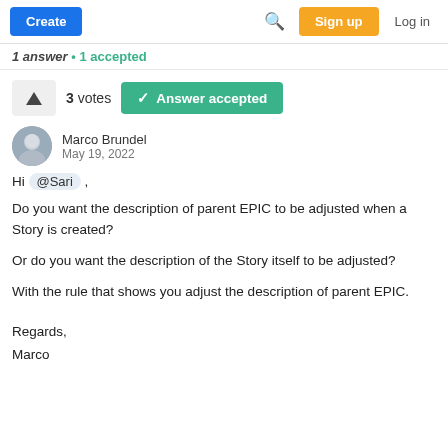Create  [search icon]  Sign up  Log in
1 answer  •  1 accepted
3 votes  Answer accepted
Marco Brundel
May 19, 2022
Hi @Sari ,
Do you want the description of parent EPIC to be adjusted when a Story is created?
Or do you want the description of the Story itself to be adjusted?
With the rule that shows you adjust the description of parent EPIC.
Regards,
Marco